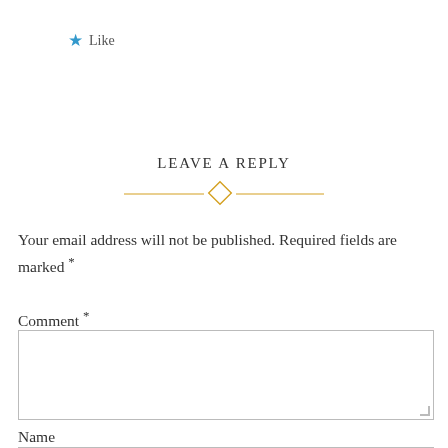★ Like
LEAVE A REPLY
Your email address will not be published. Required fields are marked *
Comment *
Name